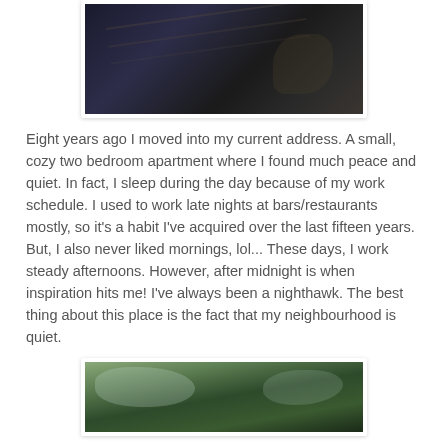[Figure (photo): A photograph of a dark asphalt road or driveway with cracks and scattered leaves, taken in outdoor daylight.]
Eight years ago I moved into my current address. A small, cozy two bedroom apartment where I found much peace and quiet. In fact, I sleep during the day because of my work schedule. I used to work late nights at bars/restaurants mostly, so it's a habit I've acquired over the last fifteen years. But, I also never liked mornings, lol... These days, I work steady afternoons. However, after midnight is when inspiration hits me! I've always been a nighthawk. The best thing about this place is the fact that my neighbourhood is quiet.
[Figure (photo): A photograph of tree branches and foliage with green pine/evergreen trees against a light sky, taken outdoors.]